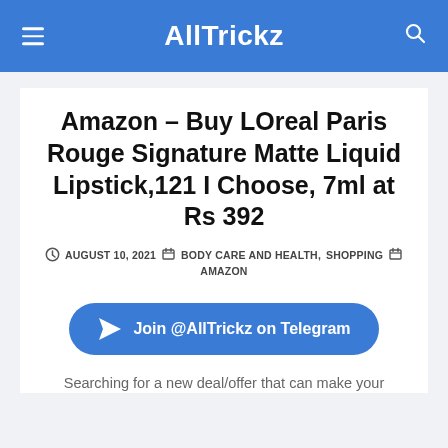AllTrickz
Amazon – Buy LOreal Paris Rouge Signature Matte Liquid Lipstick,121 I Choose, 7ml at Rs 392
AUGUST 10, 2021  BODY CARE AND HEALTH, SHOPPING  AMAZON
Join @AllTrickz on Telegram
Searching for a new deal/offer that can make your